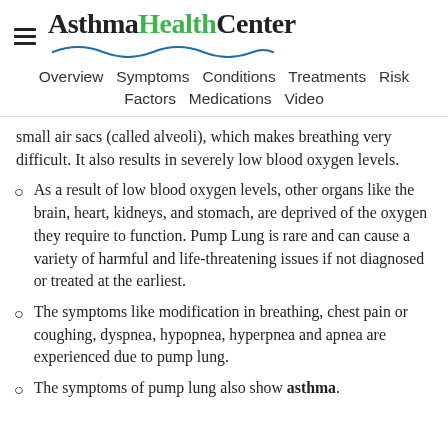AsthmaHealthCenter
Overview  Symptoms  Conditions  Treatments  Risk Factors  Medications  Video
small air sacs (called alveoli), which makes breathing very difficult. It also results in severely low blood oxygen levels.
As a result of low blood oxygen levels, other organs like the brain, heart, kidneys, and stomach, are deprived of the oxygen they require to function. Pump Lung is rare and can cause a variety of harmful and life-threatening issues if not diagnosed or treated at the earliest.
The symptoms like modification in breathing, chest pain or coughing, dyspnea, hypopnea, hyperpnea and apnea are experienced due to pump lung.
The symptoms of pump lung also show asthma.